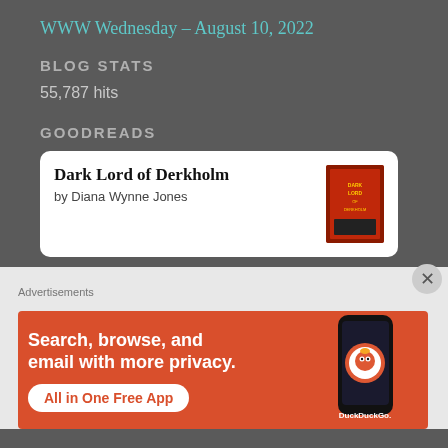WWW Wednesday – August 10, 2022
BLOG STATS
55,787 hits
GOODREADS
Dark Lord of Derkholm by Diana Wynne Jones
Advertisements
[Figure (infographic): DuckDuckGo advertisement banner: orange/red background with white bold text 'Search, browse, and email with more privacy.' and a white button 'All in One Free App'. Right side shows a smartphone with the DuckDuckGo logo and text 'DuckDuckGo.']